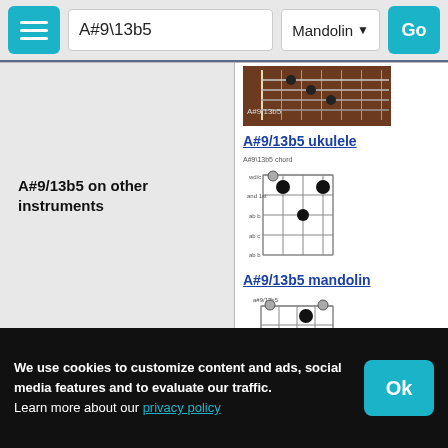A#9\13b5 — Mandolin — Go
A#9/13b5 on other instruments
[Figure (illustration): A#9/13b5 ukulele chord diagram showing fret positions on brown fretboard]
A#9/13b5 ukulele
[Figure (illustration): A#9/13b5 mandolin chord diagram grid with dots indicating finger positions]
A#9/13b5 mandolin
[Figure (illustration): A#9/13b5 banjo chord diagram grid with dots indicating finger positions]
A#9/13b5 banjo
[Figure (illustration): Partial chord diagram visible at bottom]
We use cookies to customize content and ads, social media features and to evaluate our traffic.
Learn more about our privacy policy